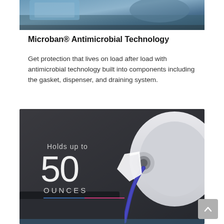[Figure (photo): Close-up photo of a washing machine drum or appliance component, partially cropped at top of page]
Microban® Antimicrobial Technology
Get protection that lives on load after load with antimicrobial technology built into components including the gasket, dispenser, and draining system.
[Figure (photo): Product photo of a washing machine dispenser area with text overlay: 'Holds up to 50 OUNCES' with a blue and pink accent line beneath. Shows a white circular component and blue hose.]